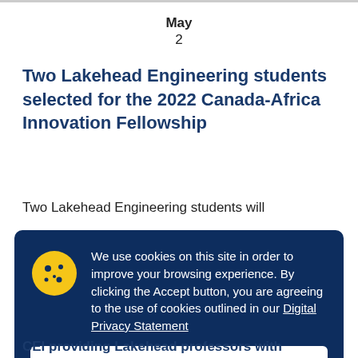May
2
Two Lakehead Engineering students selected for the 2022 Canada-Africa Innovation Fellowship
Two Lakehead Engineering students will
We use cookies on this site in order to improve your browsing experience. By clicking the Accept button, you are agreeing to the use of cookies outlined in our Digital Privacy Statement
Accept
CEI providing Lakehead professors with